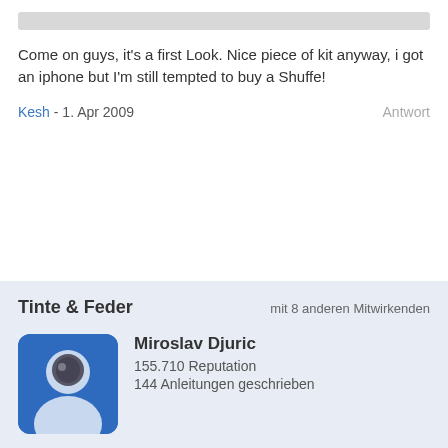[Figure (other): Gray placeholder bar at top of comment section]
Come on guys, it's a first Look. Nice piece of kit anyway, i got an iphone but I'm still tempted to buy a Shuffe!
Kesh - 1. Apr 2009   Antwort
Tinte & Feder
mit 8 anderen Mitwirkenden
[Figure (photo): Profile avatar of Miroslav Djuric with blue background]
Miroslav Djuric
155.710 Reputation
144 Anleitungen geschrieben